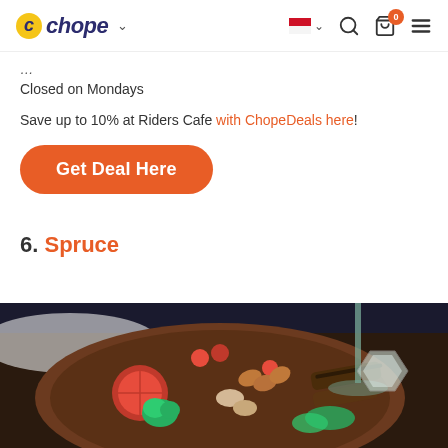Chope navigation header with logo, flag, search, cart, menu
Closed on Mondays
Save up to 10% at Riders Cafe with ChopeDeals here!
Get Deal Here
6. Spruce
[Figure (photo): Top-down photo of a wooden plate with grilled meats, tomatoes, broccoli, mushrooms, sausages and other food items, with a wine glass in the background on a dark surface]